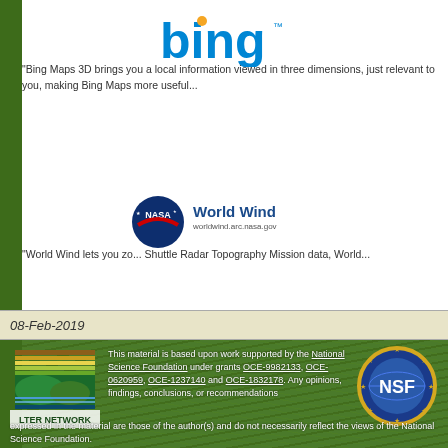[Figure (logo): Bing logo in blue with orange dot over 'i']
"Bing Maps 3D brings you a local information viewed in three dimensions, just relevant to you, making Bing Maps more useful..."
[Figure (logo): NASA World Wind logo with NASA badge and World Wind text, URL worldwind.arc.nasa.gov]
"World Wind lets you zo... Shuttle Radar Topography Mission data, World..."
08-Feb-2019
[Figure (logo): LTER Network logo with colored horizontal stripes and landscape]
This material is based upon work supported by the National Science Foundation under grants OCE-9982133, OCE-0620959, OCE-1237140 and OCE-1832178. Any opinions, findings, conclusions, or recommendations expressed in the material are those of the author(s) and do not necessarily reflect the views of the National Science Foundation.
[Figure (logo): NSF logo - blue globe with gold stars and NSF text]